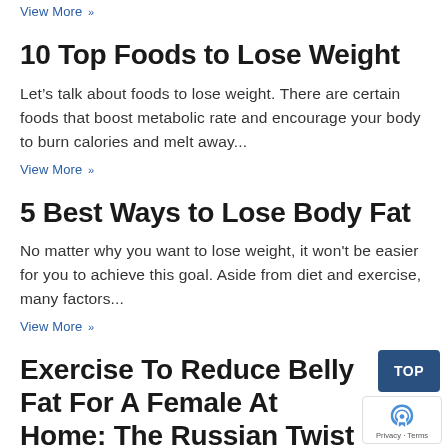View More »
10 Top Foods to Lose Weight
Let's talk about foods to lose weight. There are certain foods that boost metabolic rate and encourage your body to burn calories and melt away...
View More »
5 Best Ways to Lose Body Fat
No matter why you want to lose weight, it won't be easier for you to achieve this goal. Aside from diet and exercise, many factors...
View More »
Exercise To Reduce Belly Fat For A Female At Home: The Russian Twist